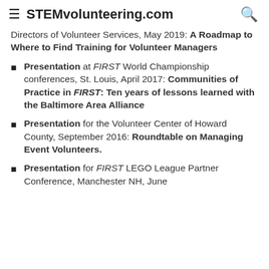STEMvolunteering.com
Directors of Volunteer Services, May 2019: A Roadmap to Where to Find Training for Volunteer Managers
Presentation at FIRST World Championship conferences, St. Louis, April 2017: Communities of Practice in FIRST: Ten years of lessons learned with the Baltimore Area Alliance
Presentation for the Volunteer Center of Howard County, September 2016: Roundtable on Managing Event Volunteers.
Presentation for FIRST LEGO League Partner Conference, Manchester NH, June